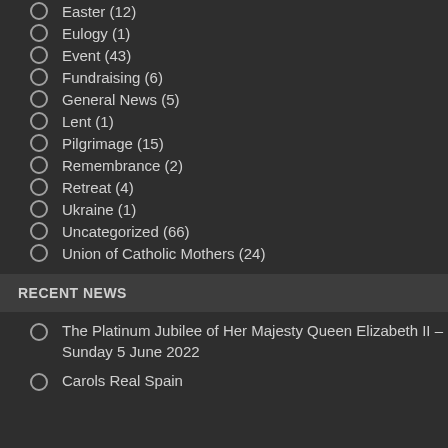Easter (12)
Eulogy (1)
Event (43)
Fundraising (6)
General News (5)
Lent (1)
Pilgrimage (15)
Remembrance (2)
Retreat (4)
Ukraine (1)
Uncategorized (66)
Union of Catholic Mothers (24)
RECENT NEWS
The Platinum Jubilee of Her Majesty Queen Elizabeth II – Sunday 5 June 2022
Carols Real Spain